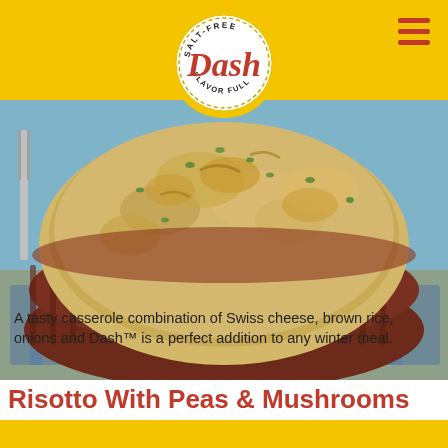[Figure (logo): Dash salt-free flavor full circular logo in yellow and red]
[Figure (photo): A bowl of risotto or casserole with Swiss cheese, brown rice, onions and herbs, served in a brown ceramic bowl on a textured cloth]
A tasty casserole combination of Swiss cheese, brown rice, onions and Dash™ is a perfect addition to any winter meal.
Risotto With Peas & Mushrooms